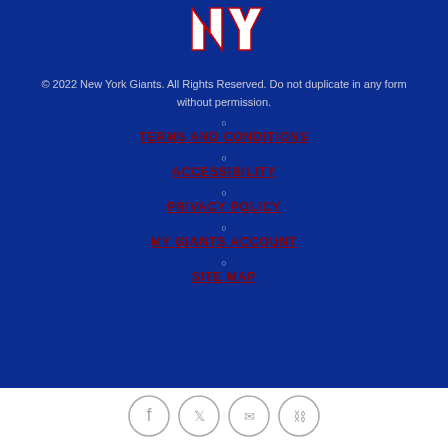[Figure (logo): New York Giants NY logo in red and white]
© 2022 New York Giants. All Rights Reserved. Do not duplicate in any form without permission.
TERMS AND CONDITIONS
ACCESSIBILITY
PRIVACY POLICY
MY GIANTS ACCOUNT
SITE MAP
[Figure (infographic): Social media icons: Facebook, Twitter, Email, Link]